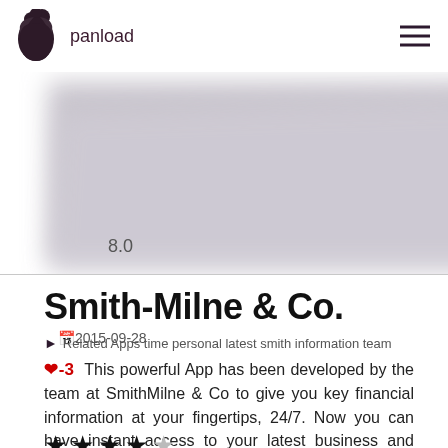panload
[Figure (other): Blurred/cropped chart or app screenshot image area with label 8.0]
Smith-Milne & Co.
2015-09-28
Related Apps time personal latest smith information team
-3  This powerful App has been developed by the team at SmithMilne & Co to give you key financial information at your fingertips, 24/7. Now you can have instant access to your latest business and personal accountancy facts, dates and calculators. Using ...  21 MB  Views 6400
[Figure (other): 4 star rating (4 filled stars, 1 empty star)]